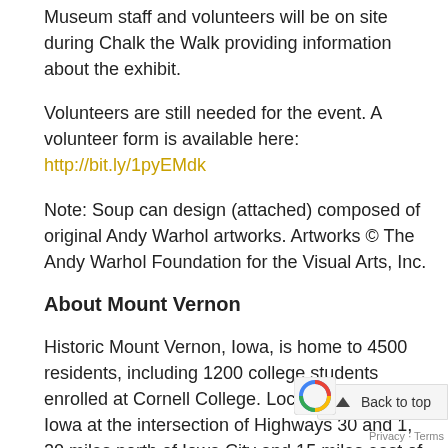Museum staff and volunteers will be on site during Chalk the Walk providing information about the exhibit.
Volunteers are still needed for the event. A volunteer form is available here: http://bit.ly/1pyEMdk
Note: Soup can design (attached) composed of original Andy Warhol artworks. Artworks © The Andy Warhol Foundation for the Visual Arts, Inc.
About Mount Vernon
Historic Mount Vernon, Iowa, is home to 4500 residents, including 1200 college students enrolled at Cornell College. Located in Eastern Iowa at the intersection of Highways 30 and 1, 20 miles north of Iowa City and 15 miles east of Cedar Rapids, it boasts a vibrant upto business community with numerous antique and specialty stores, restaurants, coffee houses, commercial